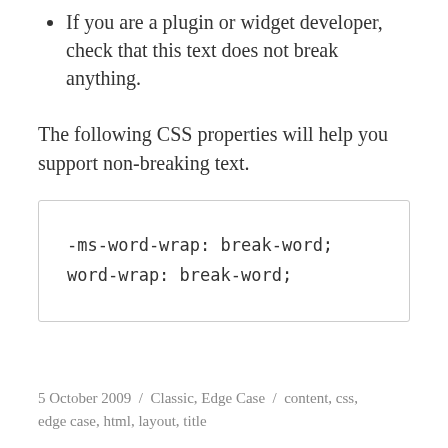If you are a plugin or widget developer, check that this text does not break anything.
The following CSS properties will help you support non-breaking text.
5 October 2009  /  Classic, Edge Case  /  content, css, edge case, html, layout, title